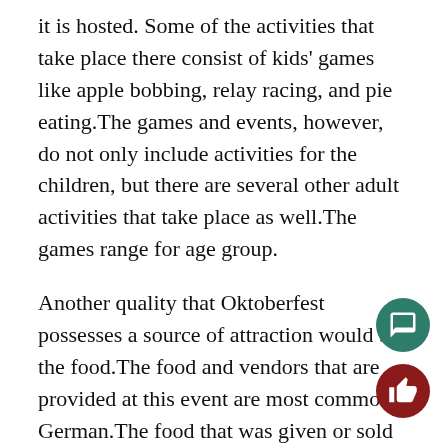it is hosted. Some of the activities that take place there consist of kids' games like apple bobbing, relay racing, and pie eating. The games and events, however, do not only include activities for the children, but there are several other adult activities that take place as well. The games range for age group.
Another quality that Oktoberfest possesses a source of attraction would be the food. The food and vendors that are provided at this event are most commonly German. The food that was given or sold there included sauerkraut, spit-grilled chicken, warm soft pretzels, potato salad, and apple strudel.
"Its so fun, because the music lets you bust out your dance moves," said Ridzvan Kaihau, a former attendant to Oktoberfest. As said by his sister, Suliana, "The music gave one an ear for Germany and